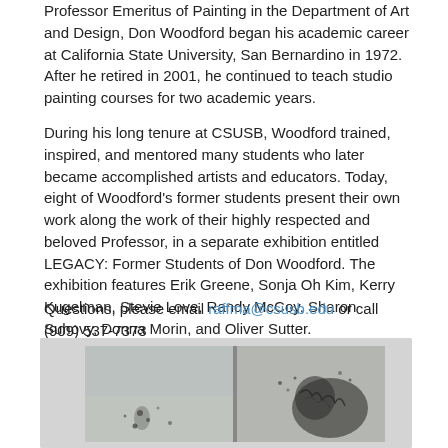Professor Emeritus of Painting in the Department of Art and Design, Don Woodford began his academic career at California State University, San Bernardino in 1972. After he retired in 2001, he continued to teach studio painting courses for two academic years.
During his long tenure at CSUSB, Woodford trained, inspired, and mentored many students who later became accomplished artists and educators. Today, eight of Woodford's former students present their own work along the work of their highly respected and beloved Professor, in a separate exhibition entitled LEGACY: Former Students of Don Woodford. The exhibition features Erik Greene, Sonja Oh Kim, Kerry Kugelman, Stevie Love, Randy McCoy, Sharon Suhovy, Donna Morin, and Oliver Sutter.
Questions, please email raffma@csusb.edu or call (909) 537-7373
[Figure (photo): Two side-by-side artwork panels showing abstract paintings with dark splatter and organic forms on a light grey background, displayed in a gallery setting.]